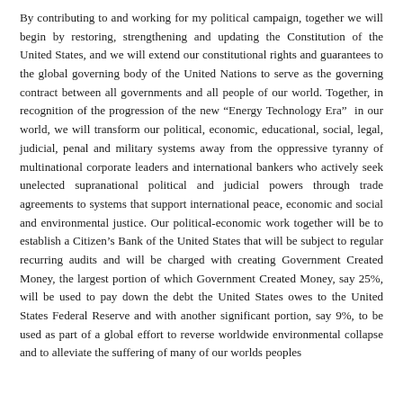By contributing to and working for my political campaign, together we will begin by restoring, strengthening and updating the Constitution of the United States, and we will extend our constitutional rights and guarantees to the global governing body of the United Nations to serve as the governing contract between all governments and all people of our world. Together, in recognition of the progression of the new “Energy Technology Era”  in our world, we will transform our political, economic, educational, social, legal, judicial, penal and military systems away from the oppressive tyranny of multinational corporate leaders and international bankers who actively seek unelected supranational political and judicial powers through trade agreements to systems that support international peace, economic and social and environmental justice. Our political-economic work together will be to establish a Citizen’s Bank of the United States that will be subject to regular recurring audits and will be charged with creating Government Created Money, the largest portion of which Government Created Money, say 25%, will be used to pay down the debt the United States owes to the United States Federal Reserve and with another significant portion, say 9%, to be used as part of a global effort to reverse worldwide environmental collapse and to alleviate the suffering of many of our worlds peoples